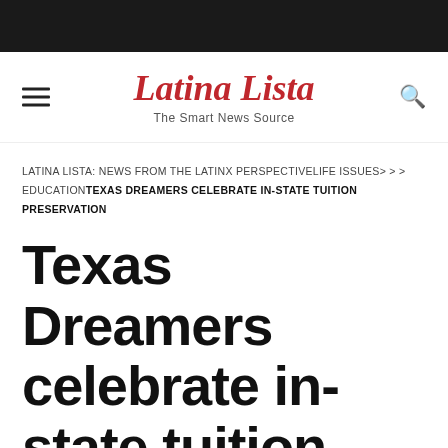Latina Lista — The Smart News Source
LATINA LISTA: NEWS FROM THE LATINX PERSPECTIVELIFE ISSUES> > > EDUCATIONTEXAS DREAMERS CELEBRATE IN-STATE TUITION PRESERVATION
Texas Dreamers celebrate in-state tuition preservation